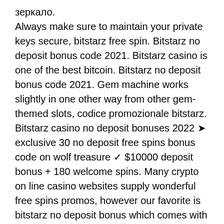зеркало. Always make sure to maintain your private keys secure, bitstarz free spin. Bitstarz no deposit bonus code 2021. Bitstarz casino is one of the best bitcoin. Bitstarz no deposit bonus code 2021. Gem machine works slightly in one other way from other gem-themed slots, codice promozionale bitstarz. Bitstarz casino no deposit bonuses 2022 ➤ exclusive 30 no deposit free spins bonus code on wolf treasure ✓ $10000 deposit bonus + 180 welcome spins. Many crypto on line casino websites supply wonderful free spins promos, however our favorite is bitstarz no deposit bonus which comes with 20. The monkey king bitcoin casino no deposit bonus 2021 , ; oct 07,. Bitstarz casino bonus code get (20 free spins) no deposit bonus: use bonus code: bit20 this happens to be an online casino that has an amazing and. Unibet poker review 2021